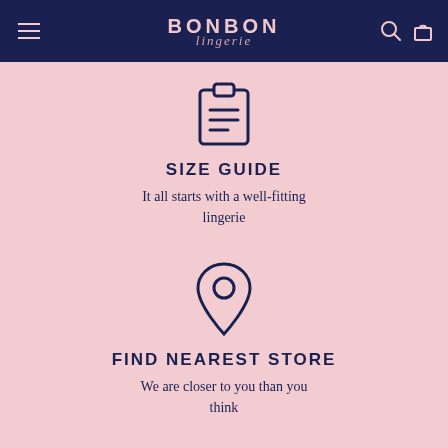BONBON lingerie
[Figure (illustration): Document/clipboard icon with lines, navy on pink background]
SIZE GUIDE
It all starts with a well-fitting lingerie
[Figure (illustration): Location pin / map marker icon, navy on pink background]
FIND NEAREST STORE
We are closer to you than you think